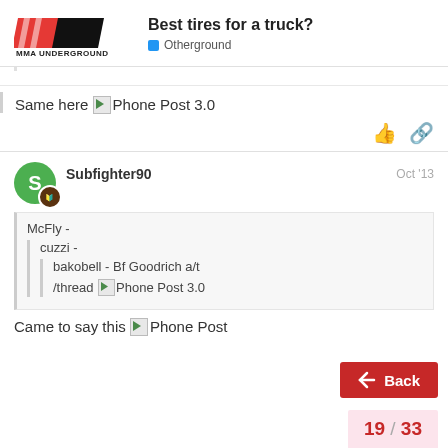Best tires for a truck? — Otherground
Same here 📱Phone Post 3.0
Subfighter90   Oct '13
McFly -
  cuzzi -
    bakobell - Bf Goodrich a/t
    /thread 📱Phone Post 3.0
Came to say this 📱Phone Post